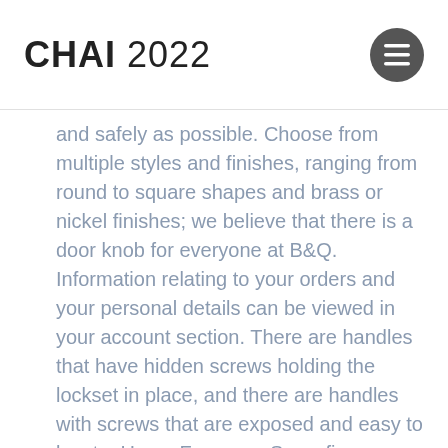CHAI 2022
and safely as possible. Choose from multiple styles and finishes, ranging from round to square shapes and brass or nickel finishes; we believe that there is a door knob for everyone at B&Q. Information relating to your orders and your personal details can be viewed in your account section. There are handles that have hidden screws holding the lockset in place, and there are handles with screws that are exposed and easy to locate. Home Forums > Screwfix Community Forum > Carpenters' Talk > Door knobs. The screw threads through the knob shank and tightens directly onto the spindle (not to be confused with headed set screws used for tightening knobs onto tapped spindles). These 2 kinds of doorknob incorporate a different method to keep the knob snug against the door, so different steps need to be fâ¦ Rim Door Knobs. £1.89 to £23.99. Free postage. At the Door Handle Company, our vast range of door knobs offers an array of different styles and